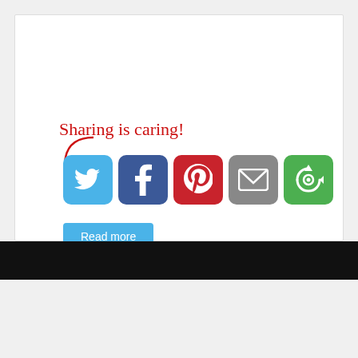[Figure (screenshot): Social sharing section with 'Sharing is caring!' handwritten text in red with a curved arrow, five social media icon buttons (Twitter, Facebook, Pinterest, Email, Share/cycling icon), and a 'Read more' button below]
[Figure (other): Black horizontal bar / footer area]